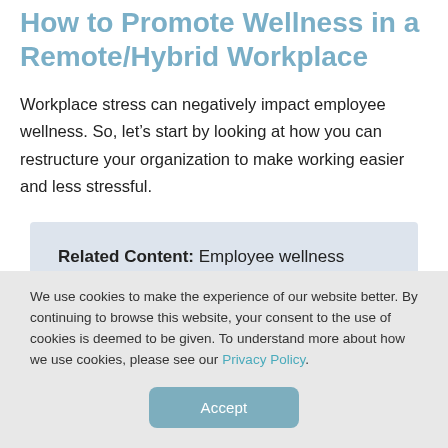How to Promote Wellness in a Remote/Hybrid Workplace
Workplace stress can negatively impact employee wellness. So, let’s start by looking at how you can restructure your organization to make working easier and less stressful.
Related Content: Employee wellness should be a top priority in 2021 and beyond. Find out
We use cookies to make the experience of our website better. By continuing to browse this website, your consent to the use of cookies is deemed to be given. To understand more about how we use cookies, please see our Privacy Policy.